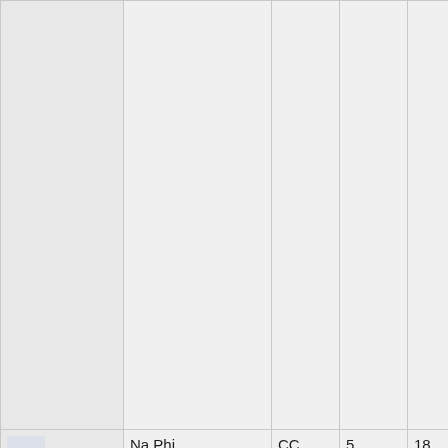|  |  |  |  |  |  |
| Archᵈ: Patoun | Na Phi (Natural Philos... | CC | 5 | 18 | Turk Hist... |